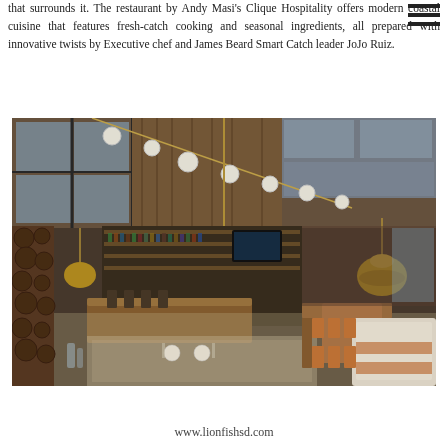that surrounds it. The restaurant by Andy Masi's Clique Hospitality offers modern coastal cuisine that features fresh-catch cooking and seasonal ingredients, all prepared with innovative twists by Executive chef and James Beard Smart Catch leader JoJo Ruiz.
[Figure (photo): Interior photo of Lionfish restaurant showing a high-ceiling dining area with pendant lights including a large gold dome lamp, a bar area in the background lined with bottles, wooden dining tables, upholstered booth seating in cream and tan leather, and warm wood-paneled walls with large windows.]
www.lionfishsd.com